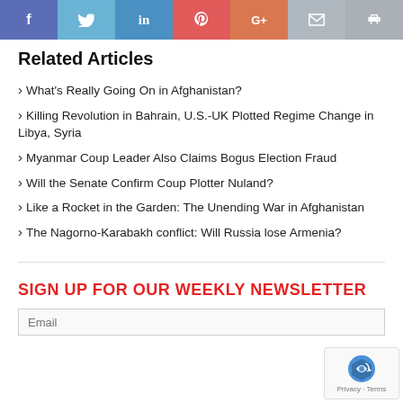[Figure (infographic): Social share bar with icons for Facebook, Twitter, LinkedIn, Pinterest, Google+, Email, and Print]
Related Articles
What's Really Going On in Afghanistan?
Killing Revolution in Bahrain, U.S.-UK Plotted Regime Change in Libya, Syria
Myanmar Coup Leader Also Claims Bogus Election Fraud
Will the Senate Confirm Coup Plotter Nuland?
Like a Rocket in the Garden: The Unending War in Afghanistan
The Nagorno-Karabakh conflict: Will Russia lose Armenia?
SIGN UP FOR OUR WEEKLY NEWSLETTER